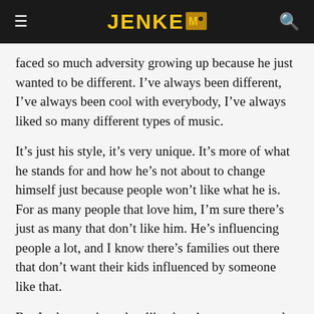JENKEM
faced so much adversity growing up because he just wanted to be different. I’ve always been different, I’ve always been cool with everybody, I’ve always liked so many different types of music.
It’s just his style, it’s very unique. It’s more of what he stands for and how he’s not about to change himself just because people won’t like what he is. For as many people that love him, I’m sure there’s just as many that don’t like him. He’s influencing people a lot, and I know there’s families out there that don’t want their kids influenced by someone like that.
But I relate to that a lot, like there’s so many people that will hit me up and be like, “You’re stupid for dropping off the bridge,” or whatever, or like, “You’re not gonna walk in five years,” and I understand all that. But that’s why I feel like people who have known me for a while know how it